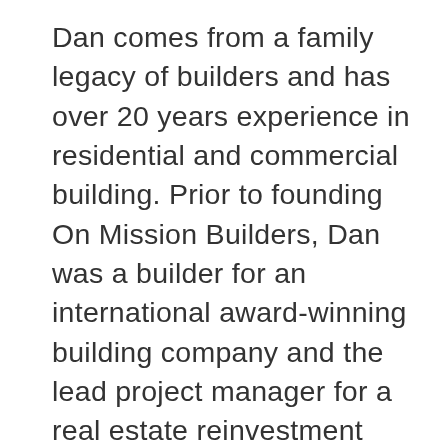Dan comes from a family legacy of builders and has over 20 years experience in residential and commercial building. Prior to founding On Mission Builders, Dan was a builder for an international award-winning building company and the lead project manager for a real estate reinvestment firm where he remodeled and sold over 40 residential properties. Dan has also shared his love for building by teaching his trade to at-risk youth and has worked with Habitat for Humanity. In addition to OSHA certifications, he holds an associates degree in residential building and a B.A. from Cairn University. Dan lives in